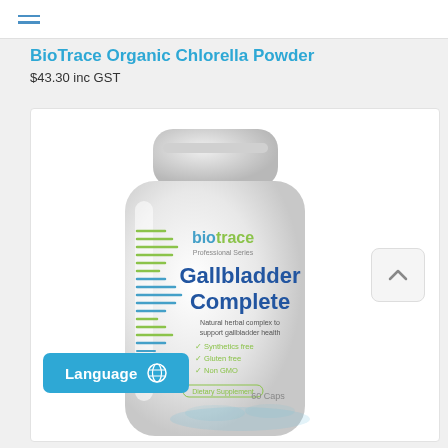Navigation menu (hamburger icon)
BioTrace Organic Chlorella Powder
$43.30 inc GST
[Figure (photo): BioTrace Professional Series Gallbladder Complete supplement bottle. White plastic bottle with cap showing: biotrace Professional Series branding, 'Gallbladder Complete' in large blue text, 'Natural herbal complex to support gallbladder health' tagline, checkmarks for Synthetics free, Gluten free, Non GMO, Dietary Supplement label, 60 Caps. Side of bottle shows green DNA/measurement graphic.]
Language